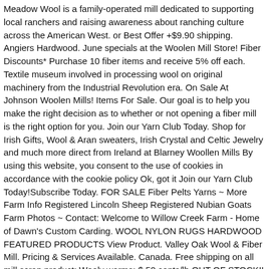Meadow Wool is a family-operated mill dedicated to supporting local ranchers and raising awareness about ranching culture across the American West. or Best Offer +$9.90 shipping. Angiers Hardwood. June specials at the Woolen Mill Store! Fiber Discounts* Purchase 10 fiber items and receive 5% off each. Textile museum involved in processing wool on original machinery from the Industrial Revolution era. On Sale At Johnson Woolen Mills! Items For Sale. Our goal is to help you make the right decision as to whether or not opening a fiber mill is the right option for you. Join our Yarn Club Today. Shop for Irish Gifts, Wool & Aran sweaters, Irish Crystal and Celtic Jewelry and much more direct from Ireland at Blarney Woollen Mills By using this website, you consent to the use of cookies in accordance with the cookie policy Ok, got it Join our Yarn Club Today!Subscribe Today. FOR SALE Fiber Pelts Yarns ~ More Farm Info Registered Lincoln Sheep Registered Nubian Goats Farm Photos ~ Contact: Welcome to Willow Creek Farm - Home of Dawn's Custom Carding. WOOL NYLON RUGS HARDWOOD FEATURED PRODUCTS View Product. Valley Oak Wool & Fiber Mill. Pricing & Services Available. Canada. Free shipping on all mill scrap product: Wooly worms: $.50 cents/lb OUT OF STOCK!! Wool is an easy fabric to tailor because it responds to heat and steam. $19.74. "Yarning" for more? The Belfast Mini Mill is capable of processing small batches down to ounces or grams in … Our farm is a family business and we have been processing wool and wool products for the past 10 years.